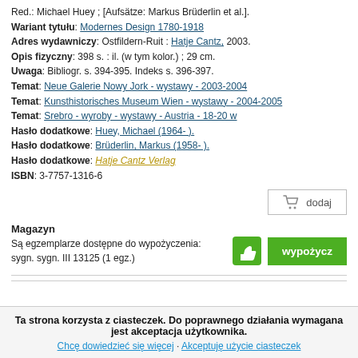Red.: Michael Huey ; [Aufsätze: Markus Brüderlin et al.].
Wariant tytułu: Modernes Design 1780-1918
Adres wydawniczy: Ostfildern-Ruit : Hatje Cantz, 2003.
Opis fizyczny: 398 s. : il. (w tym kolor.) ; 29 cm.
Uwaga: Bibliogr. s. 394-395. Indeks s. 396-397.
Temat: Neue Galerie Nowy Jork - wystawy - 2003-2004
Temat: Kunsthistorisches Museum Wien - wystawy - 2004-2005
Temat: Srebro - wyroby - wystawy - Austria - 18-20 w
Hasło dodatkowe: Huey, Michael (1964- ).
Hasło dodatkowe: Brüderlin, Markus (1958- ).
Hasło dodatkowe: Hatje Cantz Verlag
ISBN: 3-7757-1316-6
dodaj
Magazyn
Są egzemplarze dostępne do wypożyczenia: sygn. sygn. III 13125 (1 egz.)
wypożycz
Ta strona korzysta z ciasteczek. Do poprawnego działania wymagana jest akceptacja użytkownika.
Chcę dowiedzieć się więcej · Akceptuję użycie ciasteczek